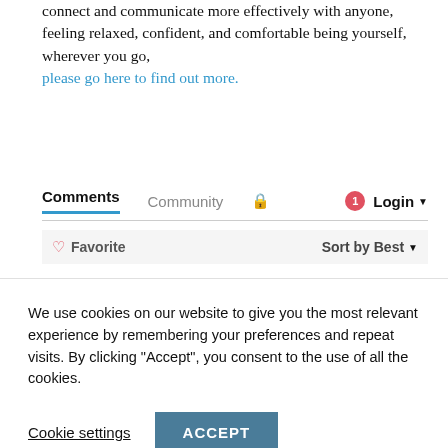connect and communicate more effectively with anyone, feeling relaxed, confident, and comfortable being yourself, wherever you go, please go here to find out more.
Comments  Community  🔒  1  Login ▼
♡ Favorite    Sort by Best ▼
We use cookies on our website to give you the most relevant experience by remembering your preferences and repeat visits. By clicking "Accept", you consent to the use of all the cookies.
Cookie settings    ACCEPT